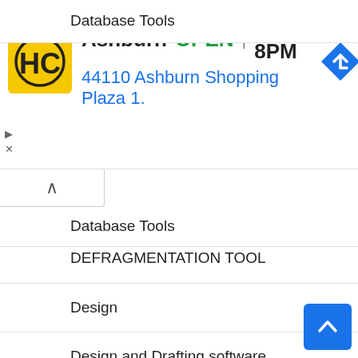[Figure (screenshot): Advertisement banner for HC (Hamrick's?) store in Ashburn showing logo, OPEN status, hours 8AM-8PM, address 44110 Ashburn Shopping Plaza 1., and a navigation arrow icon]
Database Tools
DEFRAGMENTATION TOOL
Design
Design and Drafting software
Digital Photo Tools
Document Converter
download manager